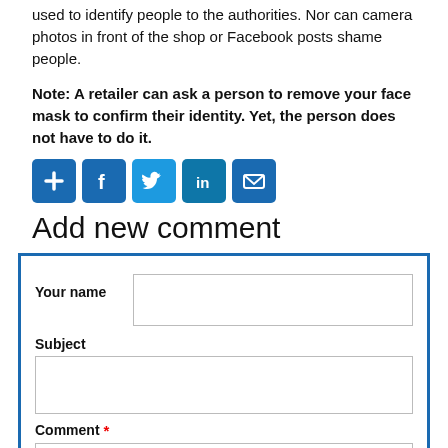used to identify people to the authorities. Nor can camera photos in front of the shop or Facebook posts shame people.
Note: A retailer can ask a person to remove your face mask to confirm their identity. Yet, the person does not have to do it.
[Figure (infographic): Row of five social share buttons: plus/add, Facebook, Twitter, LinkedIn, and email icons, each in a blue rounded square]
Add new comment
[Figure (screenshot): Web form with fields: Your name (text input), Subject (text area), Comment (required, text area with asterisk)]